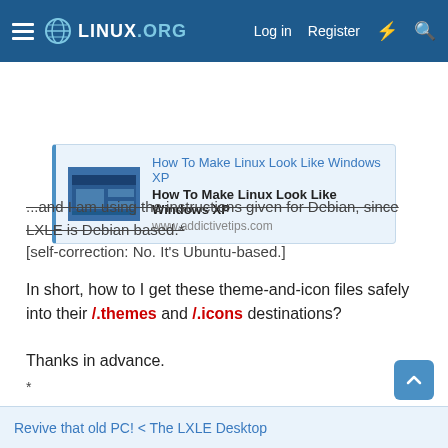Linux.org — Log in  Register
[Figure (screenshot): Link preview card for 'How To Make Linux Look Like Windows XP' from www.addictivetips.com with thumbnail image]
...and I am using the instructions given for Debian, since LXLE is Debian based.*
[self-correction: No. It's Ubuntu-based.]
In short, how to I get these theme-and-icon files safely into their /.themes and /.icons destinations?
Thanks in advance.
*
Revive that old PC! < The LXLE Desktop